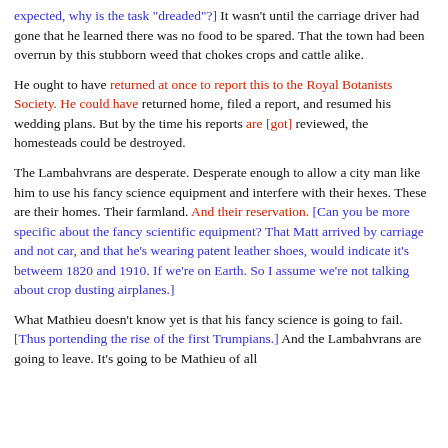expected, why is the task "dreaded"?] It wasn't until the carriage driver had gone that he learned there was no food to be spared. That the town had been overrun by this stubborn weed that chokes crops and cattle alike.
He ought to have returned at once to report this to the Royal Botanists Society. He could have returned home, filed a report, and resumed his wedding plans. But by the time his reports are [got] reviewed, the homesteads could be destroyed.
The Lambahvrans are desperate. Desperate enough to allow a city man like him to use his fancy science equipment and interfere with their hexes. These are their homes. Their farmland. And their reservation. [Can you be more specific about the fancy scientific equipment? That Matt arrived by carriage and not car, and that he's wearing patent leather shoes, would indicate it's betweem 1820 and 1910. If we're on Earth. So I assume we're not talking about crop dusting airplanes.]
What Mathieu doesn't know yet is that his fancy science is going to fail. [Thus portending the rise of the first Trumpians.] And the Lambahvrans are going to leave. It's going to be Mathieu of all